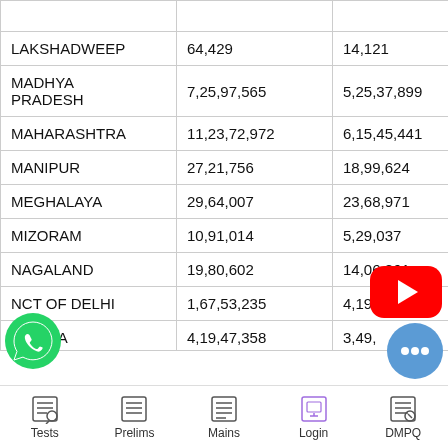| State/UT | Population | Urban Population |
| --- | --- | --- |
| LAKSHADWEEP | 64,429 | 14,121 |
| MADHYA PRADESH | 7,25,97,565 | 5,25,37,899 |
| MAHARASHTRA | 11,23,72,972 | 6,15,45,441 |
| MANIPUR | 27,21,756 | 18,99,624 |
| MEGHALAYA | 29,64,007 | 23,68,971 |
| MIZORAM | 10,91,014 | 5,29,037 |
| NAGALAND | 19,80,602 | 14,06,861 |
| NCT OF DELHI | 1,67,53,235 | 4,19,319 |
| ORISSA | 4,19,47,358 | 3,49,… |
Tests  Prelims  Mains  Login  DMPQ